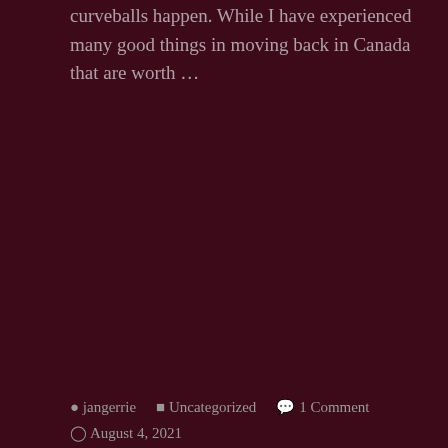curveballs happen. While I have experienced many good things in moving back in Canada that are worth …
Continue reading
jangerrie   Uncategorized   1 Comment   August 4, 2021
We will see the stars again
[Figure (photo): Night sky photograph showing stars and blue nebula clouds]